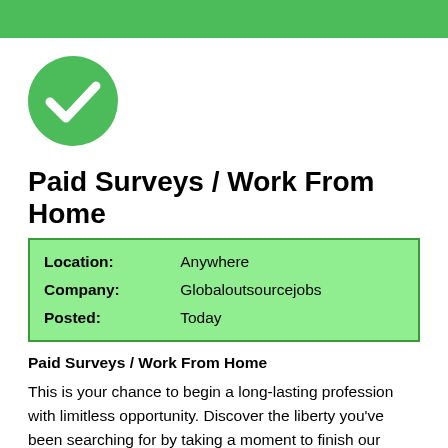[Figure (illustration): Green horizontal banner bar at the top of the page]
[Figure (illustration): Green circle with a white checkmark inside]
Paid Surveys / Work From Home
| Location: | Anywhere |
| Company: | Globaloutsourcejobs |
| Posted: | Today |
Paid Surveys / Work From Home
This is your chance to begin a long-lasting profession with limitless opportunity. Discover the liberty you've been searching for by taking a moment to finish our online application.